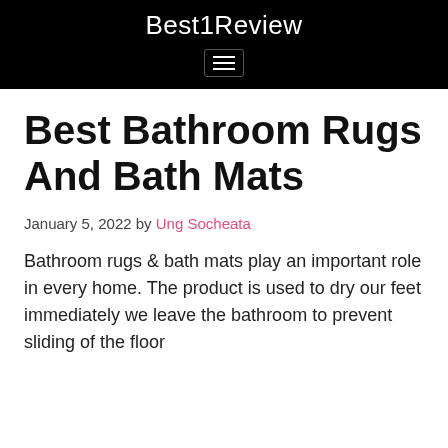Best1Review
Best Bathroom Rugs And Bath Mats
January 5, 2022 by Ung Socheata
Bathroom rugs & bath mats play an important role in every home. The product is used to dry our feet immediately we leave the bathroom to prevent sliding of the floor